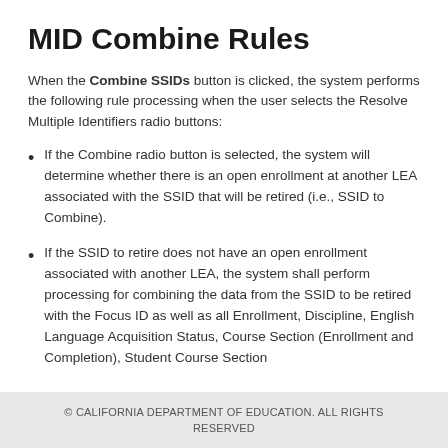MID Combine Rules
When the Combine SSIDs button is clicked, the system performs the following rule processing when the user selects the Resolve Multiple Identifiers radio buttons:
If the Combine radio button is selected, the system will determine whether there is an open enrollment at another LEA associated with the SSID that will be retired (i.e., SSID to Combine).
If the SSID to retire does not have an open enrollment associated with another LEA, the system shall perform processing for combining the data from the SSID to be retired with the Focus ID as well as all Enrollment, Discipline, English Language Acquisition Status, Course Section (Enrollment and Completion), Student Course Section
© CALIFORNIA DEPARTMENT OF EDUCATION. ALL RIGHTS RESERVED